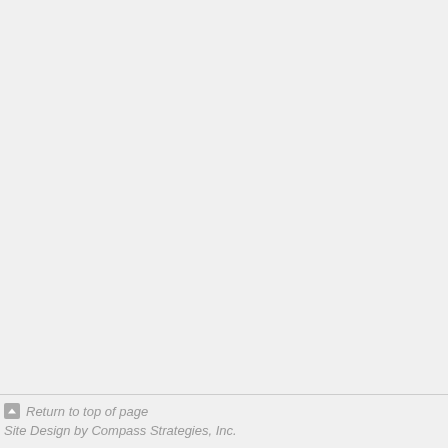Return to top of page
Site Design by Compass Strategies, Inc.